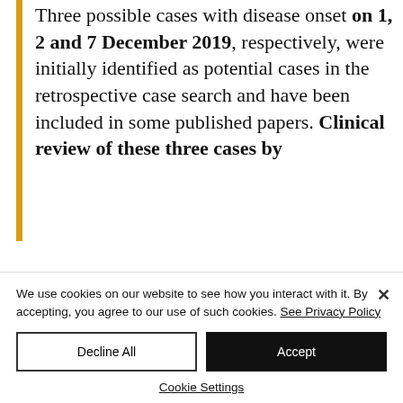Three possible cases with disease onset on 1, 2 and 7 December 2019, respectively, were initially identified as potential cases in the retrospective case search and have been included in some published papers. Clinical review of these three cases by
We use cookies on our website to see how you interact with it. By accepting, you agree to our use of such cookies. See Privacy Policy
Decline All
Accept
Cookie Settings